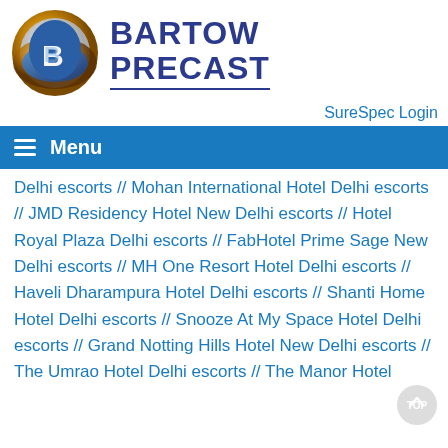[Figure (logo): Bartow Precast logo with gold/blue emblem and blue text reading BARTOW PRECAST]
SureSpec Login
Menu
Delhi escorts // Mohan International Hotel Delhi escorts // JMD Residency Hotel New Delhi escorts // Hotel Royal Plaza Delhi escorts // FabHotel Prime Sage New Delhi escorts // MH One Resort Hotel Delhi escorts // Haveli Dharampura Hotel Delhi escorts // Shanti Home Hotel Delhi escorts // Snooze At My Space Hotel Delhi escorts // Grand Notting Hills Hotel New Delhi escorts // The Umrao Hotel Delhi escorts // The Manor Hotel Delhi escorts // Grand Venizia Hotel New Delhi escorts // Amrapali Grand Hotel New Delhi escorts // Radisson Blu Marina Hotel Delhi escorts // Hotel Jivitesh Delhi escorts // Lemon Tree Premier Hotel Delhi